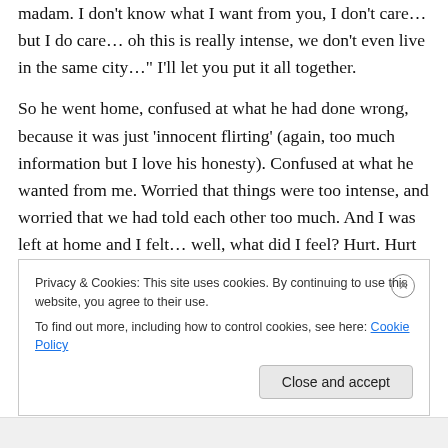madam. I don't know what I want from you, I don't care… but I do care… oh this is really intense, we don't even live in the same city…" I'll let you put it all together.
So he went home, confused at what he had done wrong, because it was just 'innocent flirting' (again, too much information but I love his honesty). Confused at what he wanted from me. Worried that things were too intense, and worried that we had told each other too much. And I was left at home and I felt… well, what did I feel? Hurt. Hurt because I liked him, surely… or because, as I have told you I am proud, and he should respect me, and like me.
Privacy & Cookies: This site uses cookies. By continuing to use this website, you agree to their use.
To find out more, including how to control cookies, see here: Cookie Policy